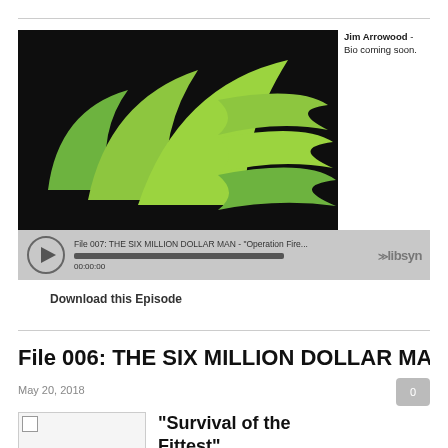[Figure (screenshot): Podcast player with green swoosh logo on black background and libsyn player bar showing File 007: THE SIX MILLION DOLLAR MAN - Operation Fire... at 00:00:00]
Jim Arrowood - Bio coming soon.
Download this Episode
File 006: THE SIX MILLION DOLLAR MAN - ...
May 20, 2018
[Figure (illustration): Broken image placeholder]
"Survival of the Fittest"